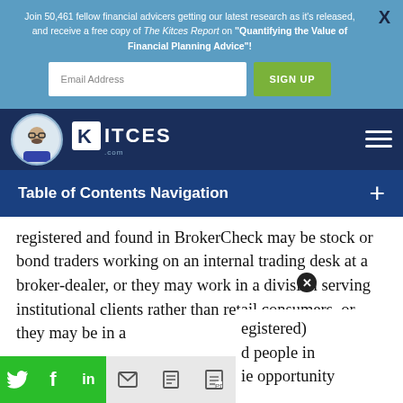Join 50,461 fellow financial advicers getting our latest research as it's released, and receive a free copy of The Kitces Report on "Quantifying the Value of Financial Planning Advice"!
[Figure (screenshot): Email signup form with text input labeled 'Email Address' and a green 'SIGN UP' button]
[Figure (logo): Kitces.com logo with avatar icon and hamburger menu on dark navy navigation bar]
Table of Contents Navigation
registered and found in BrokerCheck may be stock or bond traders working on an internal trading desk at a broker-dealer, or they may work in a division serving institutional clients rather than retail consumers, or they may be in a (registered) ... d people in ... ie opportunity
[Figure (screenshot): Social share bar with Twitter, Facebook, LinkedIn (green buttons) and email, print, PDF icons on grey background]